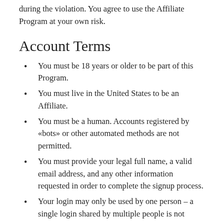during the violation. You agree to use the Affiliate Program at your own risk.
Account Terms
You must be 18 years or older to be part of this Program.
You must live in the United States to be an Affiliate.
You must be a human. Accounts registered by «bots» or other automated methods are not permitted.
You must provide your legal full name, a valid email address, and any other information requested in order to complete the signup process.
Your login may only be used by one person – a single login shared by multiple people is not